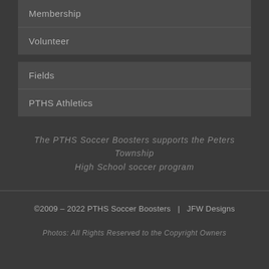Membership
Volunteer
Fields
PTHS Athletics
The PTHS Soccer Boosters supports the Peters Township High School soccer program
©2009 – 2022 PTHS Soccer Boosters  |  JFW Designs
Photos: All Rights Reserved to the Copyright Owners